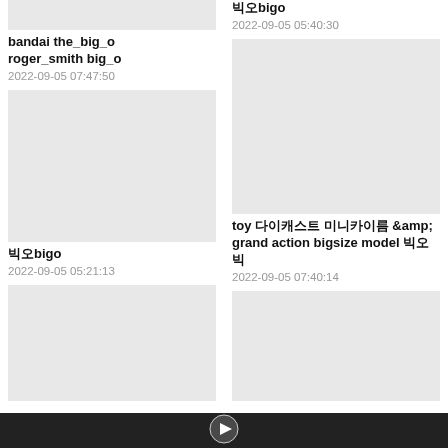[Figure (photo): Thumbnail image placeholder (gray) for bandai the_big_o roger_smith big_o listing, partially cropped at top]
bandai the_big_o roger_smith big_o
2022-09-05 07:47:50
[Figure (photo): Thumbnail image placeholder (gray) for 빅오bigo listing]
빅오bigo
2022-09-05 05:21:13
[Figure (photo): Thumbnail image placeholder (gray), partially cropped at bottom]
[Figure (photo): Thumbnail image placeholder (gray) for 빅오bigo listing at top right, partially cropped]
빅오bigo
2022-09-05 05:40:30
[Figure (photo): Thumbnail image placeholder (gray) for toy listing]
toy 다이캐스트 미니카이름 &amp; grand action bigsize model 빅오 빅
2022-09-05 07:40:14
[Figure (photo): Thumbnail image placeholder (gray), partially cropped at bottom right]
[Figure (photo): Bottom bar with play button overlay]